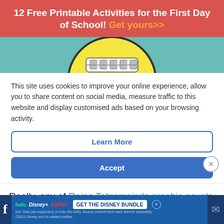12 Free Printable Activities for the First Day of School! Get yours>>
[Figure (illustration): Partial image of a cartoon face with braces on a teal background, showing a yellow circle with teeth/braces visible at the bottom]
This site uses cookies to improve your online experience, allow you to share content on social media, measure traffic to this website and display customised ads based on your browsing activity.
Learn More
Accept
Really, any of Raina Telgemeier’s graphic novels are great for high-low readers. Middle schoolers
[Figure (screenshot): Disney Bundle advertisement banner showing Hulu, Disney+, and ESPN+ logos with GET THE DISNEY BUNDLE call to action]